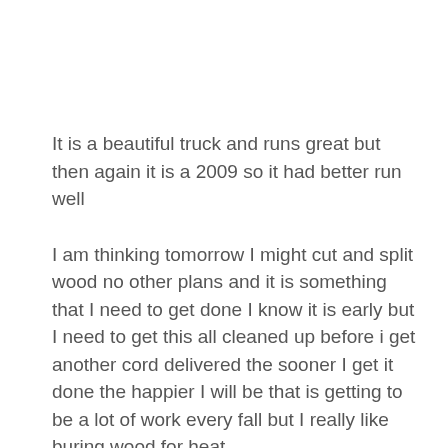It is a beautiful truck and runs great but then again it is a 2009 so it had better run well
I am thinking tomorrow I might cut and split wood no other plans and it is something that I need to get done I know it is early but I need to get this all cleaned up before i get another cord delivered the sooner I get it done the happier I will be that is getting to be a lot of work every fall but I really like buring wood for heat..
I was just outside and even though it is still summer i can just feel the fall in the air not cold but you can